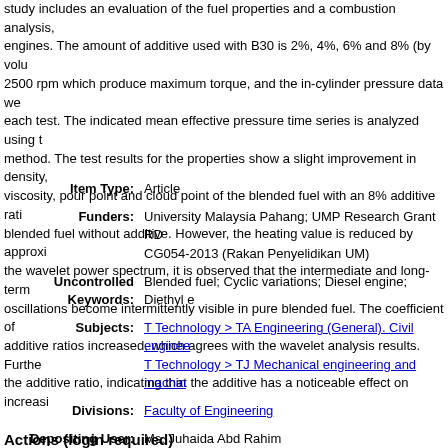study includes an evaluation of the fuel properties and a combustion analysis, engines. The amount of additive used with B30 is 2%, 4%, 6% and 8% (by volu 2500 rpm which produce maximum torque, and the in-cylinder pressure data we each test. The indicated mean effective pressure time series is analyzed using t method. The test results for the properties show a slight improvement in density viscosity, pour point and cloud point of the blended fuel with an 8% additive rati blended fuel without additive. However, the heating value is reduced by approxi the wavelet power spectrum, it is observed that the intermediate and long-term oscillations become intermittently visible in pure blended fuel. The coefficient of additive ratios increased, which agrees with the wavelet analysis results. Furthe the additive ratio, indicating that the additive has a noticeable effect on increasi
| Field | Value |
| --- | --- |
| Item Type: | Article |
| Funders: | University Malaysia Pahang; UMP Research Grant RD CG054-2013 (Rakan Penyelidikan UM) |
| Uncontrolled Keywords: | Blended fuel; Cyclic variations; Diesel engine; Diethyl e |
| Subjects: | T Technology > TA Engineering (General). Civil enginee
T Technology > TJ Mechanical engineering and machin |
| Divisions: | Faculty of Engineering |
| Depositing User: | Ms. Juhaida Abd Rahim |
| Date Deposited: | 13 Nov 2017 03:50 |
| Last Modified: | 16 Oct 2018 05:21 |
| URI: | http://eprints.um.edu.my/id/eprint/18236 |
Actions (login required)